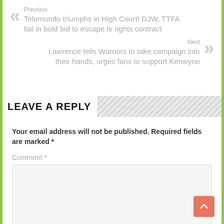Previous
Telemundo triumphs in High Court! DJW, TTFA fail in bold bid to escape tv rights contract
Next
Lawrence tells Warriors to take campaign into their hands, urges fans to support Kenwyne
LEAVE A REPLY
Your email address will not be published. Required fields are marked *
Comment *
Name *